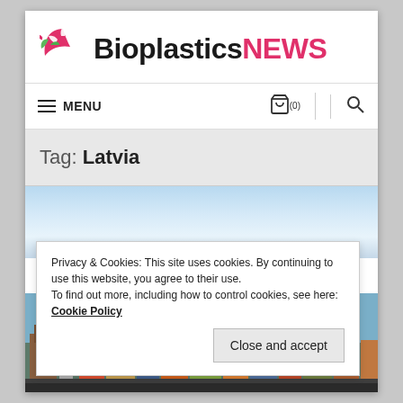Bioplastics NEWS
≡ MENU
Tag: Latvia
[Figure (photo): Sky background photo — light blue gradient sky]
Privacy & Cookies: This site uses cookies. By continuing to use this website, you agree to their use.
To find out more, including how to control cookies, see here: Cookie Policy
Close and accept
[Figure (photo): Aerial view of a colorful European city (Riga, Latvia) with traditional architecture and rooftops]
PLASTIC BANS